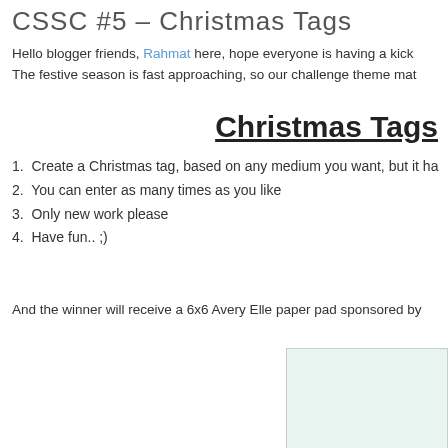CSSC #5 – Christmas Tags
Hello blogger friends, Rahmat here, hope everyone is having a kick... The festive season is fast approaching, so our challenge theme mat...
Christmas Tags
1. Create a Christmas tag, based on any medium you want, but it ha...
2. You can enter as many times as you like
3. Only new work please
4. Have fun.. ;)
And the winner will receive a 6x6 Avery Elle paper pad sponsored by...
[Figure (photo): Partial view of an Avery Elle 6x6 paper pad packaging showing teal dot pattern and colorful brand logo circle with lime green dots at bottom.]